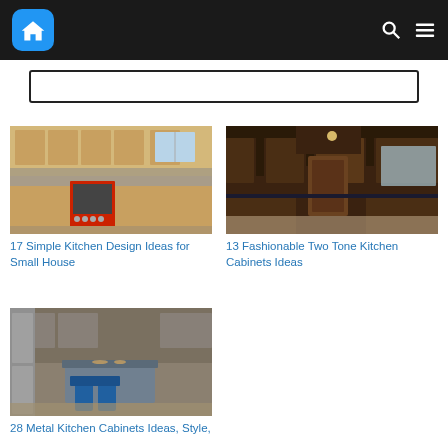Home design website header with logo and navigation icons
[Figure (screenshot): Kitchen with light wood cabinets and red stove]
17 Simple Kitchen Design Ideas for Small House
[Figure (screenshot): Dark wood luxury kitchen with ornate cabinetry]
13 Fashionable Two Tone Kitchen Cabinets Ideas
[Figure (screenshot): Kitchen with metal cabinets and island with blue chairs]
28 Metal Kitchen Cabinets Ideas, Style,